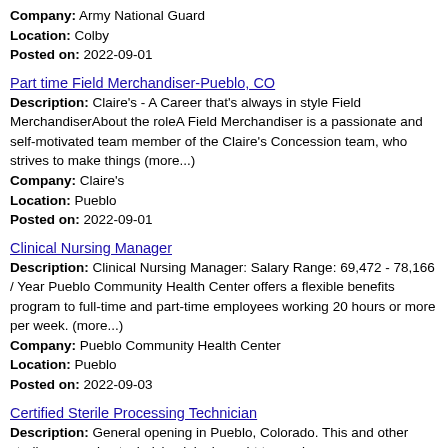Company: Army National Guard
Location: Colby
Posted on: 2022-09-01
Part time Field Merchandiser-Pueblo, CO
Description: Claire's - A Career that's always in style Field MerchandiserAbout the roleA Field Merchandiser is a passionate and self-motivated team member of the Claire's Concession team, who strives to make things (more...)
Company: Claire's
Location: Pueblo
Posted on: 2022-09-01
Clinical Nursing Manager
Description: Clinical Nursing Manager: Salary Range: 69,472 - 78,166 / Year Pueblo Community Health Center offers a flexible benefits program to full-time and part-time employees working 20 hours or more per week. (more...)
Company: Pueblo Community Health Center
Location: Pueblo
Posted on: 2022-09-03
Certified Sterile Processing Technician
Description: General opening in Pueblo, Colorado. This and other sterile processing technician jobs brought to you by AlliedHealthJobCafe.com br br At National Staffing Solutions, we have the privilege and honor (more...)
Company: National Staffing Solutions